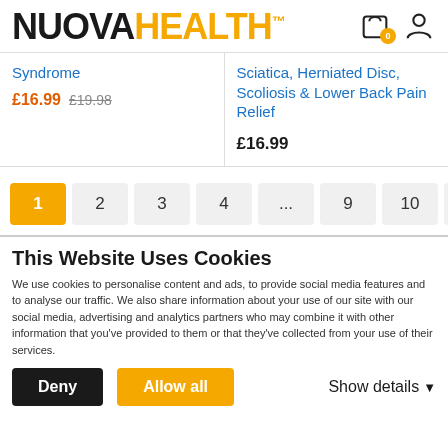NUOVA HEALTH™
Syndrome
£16.99  £19.98
Sciatica, Herniated Disc, Scoliosis & Lower Back Pain Relief
£16.99
1  2  3  4  ...  9  10  11
This Website Uses Cookies
We use cookies to personalise content and ads, to provide social media features and to analyse our traffic. We also share information about your use of our site with our social media, advertising and analytics partners who may combine it with other information that you've provided to them or that they've collected from your use of their services.
Deny  Allow all  Show details